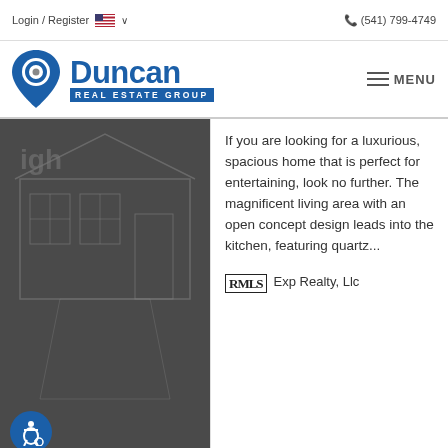Login / Register  🇺🇸 ∨    📞 (541) 799-4749
[Figure (logo): Duncan Real Estate Group logo with blue map pin icon and blue text]
[Figure (photo): Dark architectural blueprint/outline style image of a house exterior]
If you are looking for a luxurious, spacious home that is perfect for entertaining, look no further. The magnificent living area with an open concept design leads into the kitchen, featuring quartz...
RMLS  Exp Realty, Llc